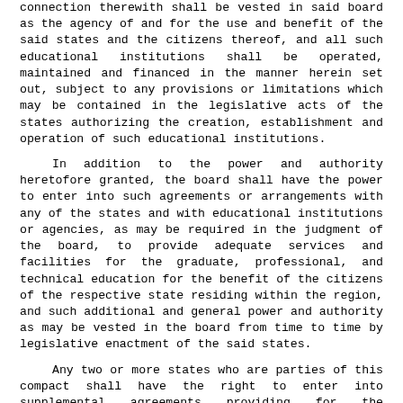connection therewith shall be vested in said board as the agency of and for the use and benefit of the said states and the citizens thereof, and all such educational institutions shall be operated, maintained and financed in the manner herein set out, subject to any provisions or limitations which may be contained in the legislative acts of the states authorizing the creation, establishment and operation of such educational institutions.
In addition to the power and authority heretofore granted, the board shall have the power to enter into such agreements or arrangements with any of the states and with educational institutions or agencies, as may be required in the judgment of the board, to provide adequate services and facilities for the graduate, professional, and technical education for the benefit of the citizens of the respective state residing within the region, and such additional and general power and authority as may be vested in the board from time to time by legislative enactment of the said states.
Any two or more states who are parties of this compact shall have the right to enter into supplemental agreements providing for the establishment, financing and operation of regional educational institutions for the benefit of citizens residing within an area which constitutes a portion of the general region herein created, such institutions to be financed exclusively by such states and to be controlled exclusively by the members of the board representing such states provided such agreement is submitted to and approved by the board prior to the establishment of such institutions.
Each state agrees that, when authorized by the legislature, it will from time to time make available and pay over to said board such funds as may be required for the establishment, acquisition, operation and